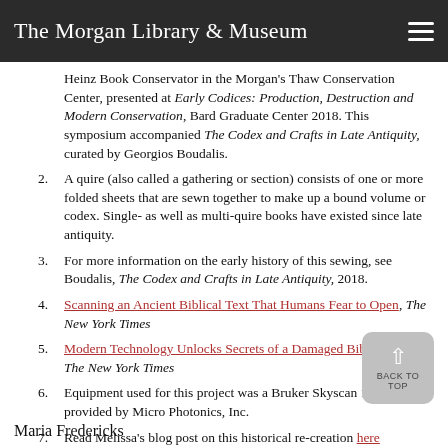The Morgan Library & Museum
Heinz Book Conservator in the Morgan's Thaw Conservation Center, presented at Early Codices: Production, Destruction and Modern Conservation, Bard Graduate Center 2018. This symposium accompanied The Codex and Crafts in Late Antiquity, curated by Georgios Boudalis.
2. A quire (also called a gathering or section) consists of one or more folded sheets that are sewn together to make up a bound volume or codex. Single- as well as multi-quire books have existed since late antiquity.
3. For more information on the early history of this sewing, see Boudalis, The Codex and Crafts in Late Antiquity, 2018.
4. Scanning an Ancient Biblical Text That Humans Fear to Open, The New York Times
5. Modern Technology Unlocks Secrets of a Damaged Biblical Scroll, The New York Times
6. Equipment used for this project was a Bruker Skyscan 1173 provided by Micro Photonics, Inc.
7. Read Melissa's blog post on this historical re-creation here
Maria Fredericks